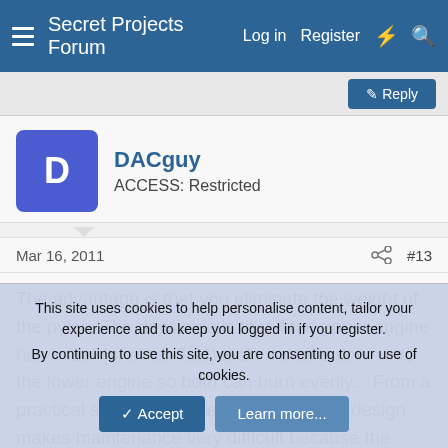Secret Projects Forum   Log in   Register
DACguy
ACCESS: Restricted
Mar 16, 2011   #13
The advantage is that you eliminate the weight of the pylon. The downside is that if the upper engine has a fuel (or other fluid) leak, it drains down into the lower engine so both can burn evenly... From a practical stand point, the stacked engine design makes maintenance very difficult because the upper engine is hard to reach and worse to change-out (must use a crane). When both engines hang side-by-side on a pylon, they are
This site uses cookies to help personalise content, tailor your experience and to keep you logged in if you register.
By continuing to use this site, you are consenting to our use of cookies.